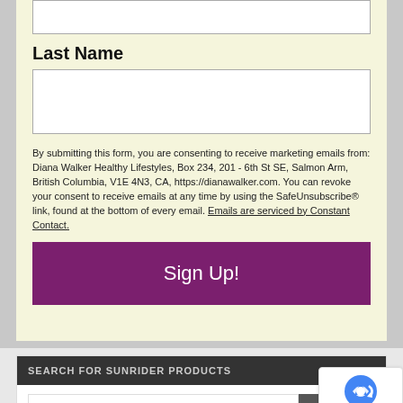Last Name
By submitting this form, you are consenting to receive marketing emails from: Diana Walker Healthy Lifestyles, Box 234, 201 - 6th St SE, Salmon Arm, British Columbia, V1E 4N3, CA, https://dianawalker.com. You can revoke your consent to receive emails at any time by using the SafeUnsubscribe® link, found at the bottom of every email. Emails are serviced by Constant Contact.
SEARCH FOR SUNRIDER PRODUCTS
SUNRIDER RECENT BLOG POSTS